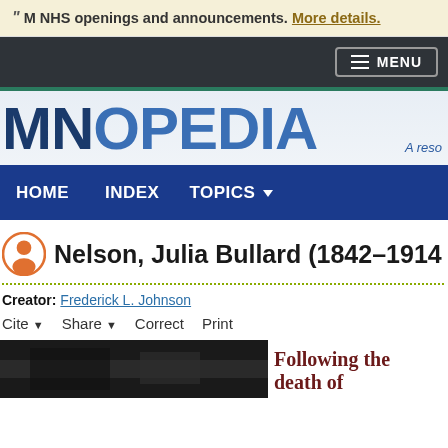MNHS openings and announcements. More details.
[Figure (screenshot): Dark navigation bar with MENU button]
[Figure (logo): MNOPEDIA logo with tagline 'A reso...']
[Figure (screenshot): Blue navigation bar with HOME, INDEX, TOPICS links]
Nelson, Julia Bullard (1842–1914
Creator: Frederick L. Johnson
Cite  Share  Correct  Print
Following the death of